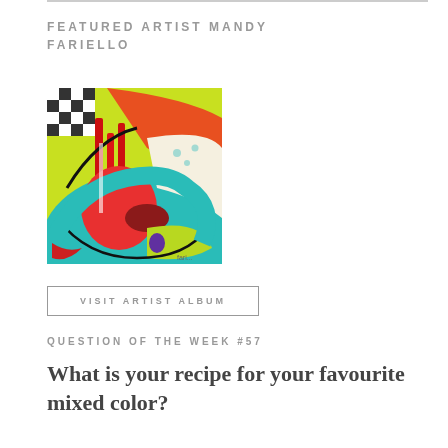FEATURED ARTIST MANDY FARIELLO
[Figure (illustration): Abstract colorful painting by Mandy Fariello featuring swirling shapes in red, teal, yellow-green, orange, and purple with mixed media textures including black and white checkered pattern in upper left corner.]
VISIT ARTIST ALBUM
QUESTION OF THE WEEK #57
What is your recipe for your favourite mixed color?